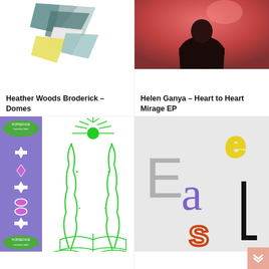[Figure (illustration): Album artwork for Heather Woods Broderick – Domes: geometric paper folded shapes in teal, white, and yellow on white background]
Heather Woods Broderick – Domes
[Figure (photo): Album artwork for Helen Ganya – Heart to Heart Mirage EP: silhouette of a person viewed from behind under red/pink ambient lighting]
Helen Ganya – Heart to Heart Mirage EP
[Figure (illustration): Album artwork: purple background with white geometric star/diamond shapes on left strip (HORSEFACE label), and green line-drawing of two mirrored figures above an open book with radiating lines]
[Figure (illustration): Album artwork with large stylized letters E, a, e (yellow), s (orange), and l (black) on light grey background forming the word Easel or similar]